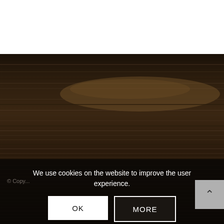[Figure (photo): Dark wood texture background with horizontal grain lines, darker tones with some lighter streaks]
We use cookies on the website to improve the user experience.
OK
MORE
[Figure (other): Grey scroll-to-top button with upward chevron arrow]
© Copy...